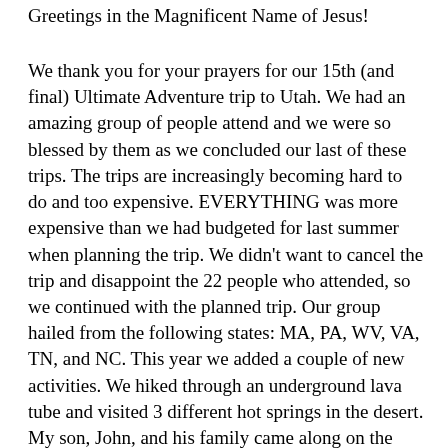Greetings in the Magnificent Name of Jesus!
We thank you for your prayers for our 15th (and final) Ultimate Adventure trip to Utah. We had an amazing group of people attend and we were so blessed by them as we concluded our last of these trips. The trips are increasingly becoming hard to do and too expensive. EVERYTHING was more expensive than we had budgeted for last summer when planning the trip. We didn't want to cancel the trip and disappoint the 22 people who attended, so we continued with the planned trip. Our group hailed from the following states: MA, PA, WV, VA, TN, and NC. This year we added a couple of new activities. We hiked through an underground lava tube and visited 3 different hot springs in the desert. My son, John, and his family came along on the trip, and I asked him to do daily devotions for the group. I was very proud of how he shared with the group. While traveling, I had many opportunities to share my faith in Christ with the